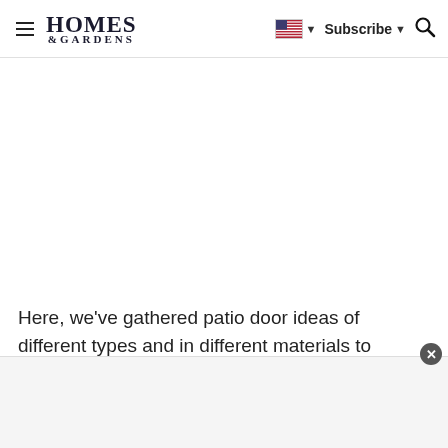HOMES & GARDENS — Subscribe
Here, we've gathered patio door ideas of different types and in different materials to inspire and we examine the features and benefits of each, too.
[Figure (other): Advertisement banner at the bottom of the page]